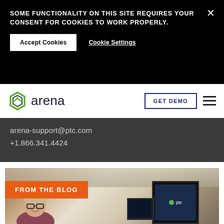SOME FUNCTIONALITY ON THIS SITE REQUIRES YOUR CONSENT FOR COOKIES TO WORK PROPERLY.
Accept Cookies
Cookie Settings
[Figure (logo): Arena by PTC logo with green hexagonal icon and 'arena' wordmark]
GET DEMO
arena-support@ptc.com
+1.866.341.4424
[Figure (photo): Blog card showing woman with glasses smiling at desk with laptop and monitor displaying PTC logo, with orange FROM THE BLOG badge overlay]
FROM THE BLOG